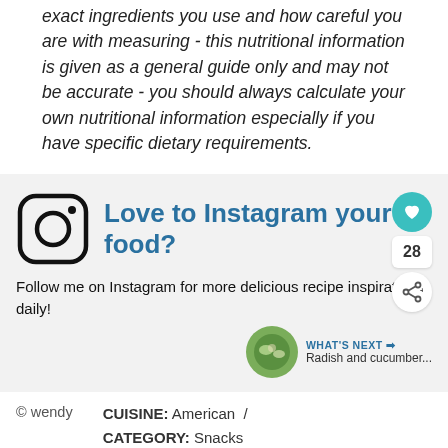exact ingredients you use and how careful you are with measuring - this nutritional information is given as a general guide only and may not be accurate - you should always calculate your own nutritional information especially if you have specific dietary requirements.
[Figure (infographic): Instagram promotion section with Instagram logo, title 'Love to Instagram your food?', heart/like button, count 28, share button, and body text 'Follow me on Instagram for more delicious recipe inspiration daily!' with a 'What's Next' panel showing a food photo thumbnail and 'Radish and cucumber...' label]
Follow me on Instagram for more delicious recipe inspiration daily!
© wendy    CUISINE: American  /  CATEGORY: Snacks
[Figure (infographic): Advertisement banner: 'Back to school? You got this.' with pencil illustrations and 'Swipe up to expand' button]